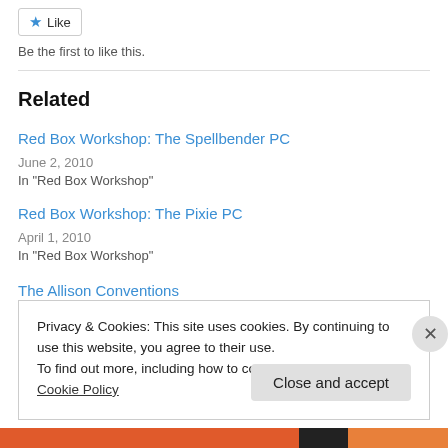[Figure (other): Like button with blue star icon]
Be the first to like this.
Related
Red Box Workshop: The Spellbender PC
June 2, 2010
In "Red Box Workshop"
Red Box Workshop: The Pixie PC
April 1, 2010
In "Red Box Workshop"
The Allison Conventions
Privacy & Cookies: This site uses cookies. By continuing to use this website, you agree to their use.
To find out more, including how to control cookies, see here: Cookie Policy